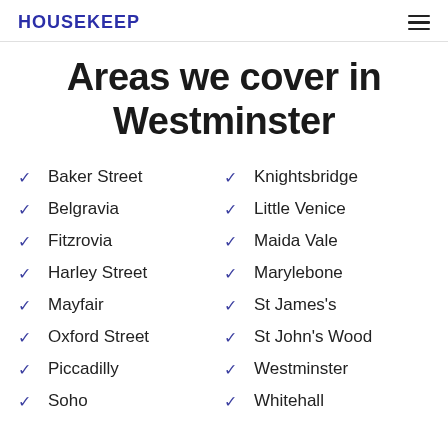HOUSEKEEP
Areas we cover in Westminster
Baker Street
Belgravia
Fitzrovia
Harley Street
Mayfair
Oxford Street
Piccadilly
Soho
Knightsbridge
Little Venice
Maida Vale
Marylebone
St James's
St John's Wood
Westminster
Whitehall